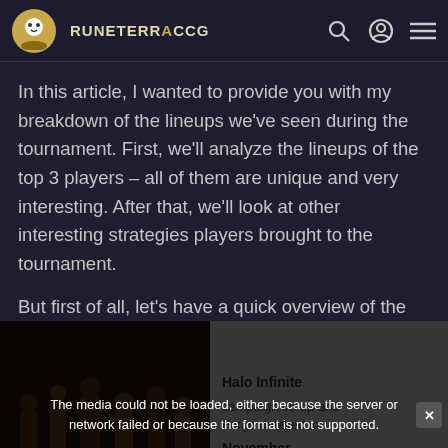RUNETERRACCG
In this article, I wanted to provide you with my breakdown of the lineups we've seen during the tournament. First, we'll analyze the lineups of the top 3 players – all of them are unique and very interesting. After that, we'll look at other interesting strategies players brought to the tournament.
But first of all, let's have a quick overview of the
[Figure (screenshot): Video player with error overlay: 'The media could not be loaded, either because the server or network failed or because the format is not supported.' Alongside a panel showing 'Halo Infinite campaign co-op and Forge delayed to November'. An X close button at the bottom center.]
| Player | Deck 1 | Deck 2 | Deck |
| --- | --- | --- | --- |